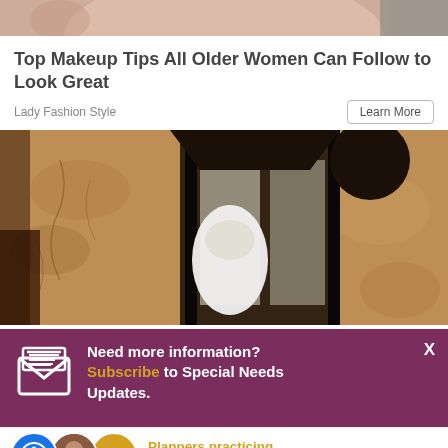[Figure (photo): Top portion of an image showing a person's face, cropped at top of page]
Top Makeup Tips All Older Women Can Follow to Look Great
Lady Fashion Style
[Figure (photo): Close-up photo of a black outdoor wall lantern with frosted glass panels mounted on a textured stucco wall]
Need more information? Subscribe to Special Needs Updates.
Planners practicing in Ashburn